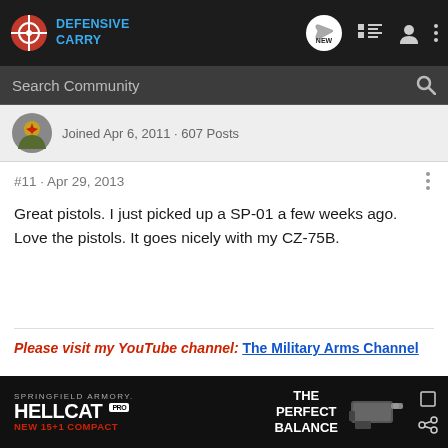Defensive Carry — navigation bar with logo, NEW bubble, list icon, user icon, menu icon
Search Community
Joined Apr 6, 2011 · 607 Posts
#11 · Apr 29, 2013
Great pistols. I just picked up a SP-01 a few weeks ago. Love the pistols. It goes nicely with my CZ-75B.
Please visit my YouTube channel: The Military Arms Channel
[Figure (screenshot): Springfield Armory Hellcat Pro advertisement banner — THE PERFECT BALANCE, NEW 15+1 COMPACT, with image of a handgun]